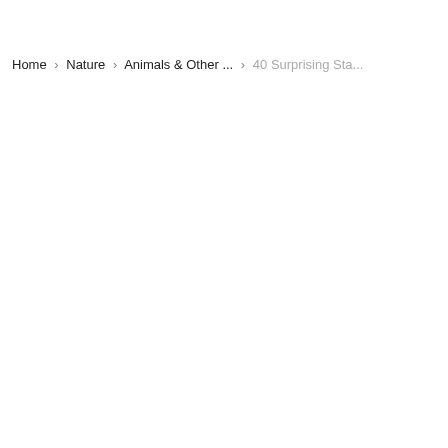Home › Nature › Animals & Other ... › 40 Surprising Sta...